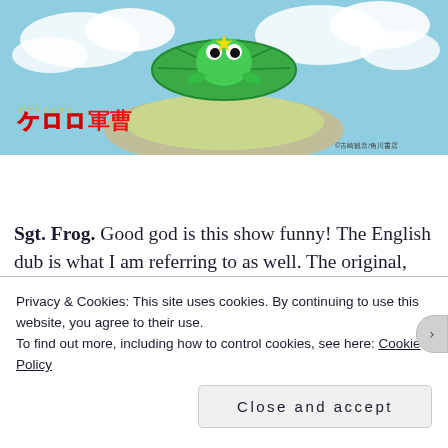[Figure (illustration): Anime promotional image for Sgt. Frog (Keroro Gunso) showing cartoon frog characters against a sky background, with the Japanese logo 'ケロロ軍曹' displayed in yellow text on the lower left, and a small copyright notice on the lower right.]
Sgt. Frog. Good god is this show funny! The English dub is what I am referring to as well. The original, Japanese show contained a lot of topical and pop culture references, so when it was dubbed by Funimation they re
Privacy & Cookies: This site uses cookies. By continuing to use this website, you agree to their use.
To find out more, including how to control cookies, see here: Cookie Policy
Close and accept